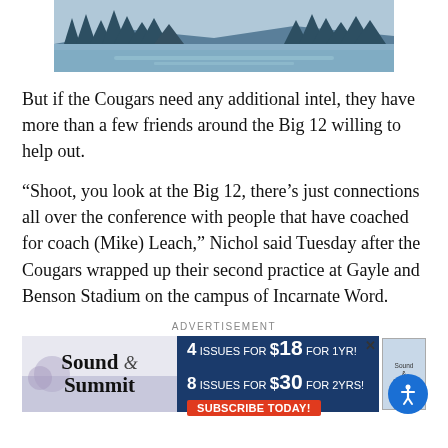[Figure (illustration): Illustrated landscape with pine trees, mountains, and a lake/river in muted blue and teal tones]
But if the Cougars need any additional intel, they have more than a few friends around the Big 12 willing to help out.
“Shoot, you look at the Big 12, there’s just connections all over the conference with people that have coached for coach (Mike) Leach,” Nichol said Tuesday after the Cougars wrapped up their second practice at Gayle and Benson Stadium on the campus of Incarnate Word.
ADVERTISEMENT
[Figure (infographic): Sound & Summit subscription advertisement: 4 issues for $18 for 1yr! 8 issues for $30 for 2yrs! Subscribe Today!]